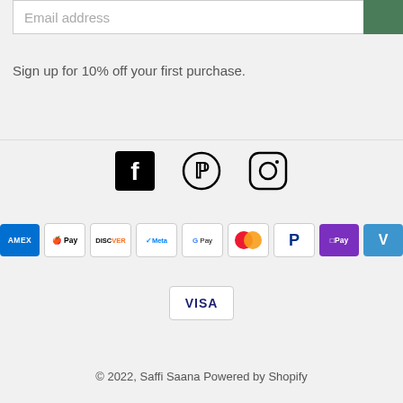Email address
Sign up for 10% off your first purchase.
[Figure (infographic): Social media icons: Facebook, Pinterest, Instagram]
[Figure (infographic): Payment method badges: AMEX, Apple Pay, Discover, Meta Pay, Google Pay, Mastercard, PayPal, OPay, Venmo, Visa]
© 2022, Saffi Saana Powered by Shopify